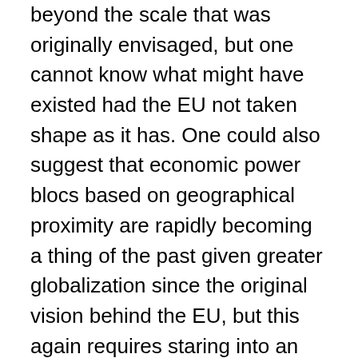beyond the scale that was originally envisaged, but one cannot know what might have existed had the EU not taken shape as it has. One could also suggest that economic power blocs based on geographical proximity are rapidly becoming a thing of the past given greater globalization since the original vision behind the EU, but this again requires staring into an unknown and uncertain future.
Faced with 3 months of interminable media coverage and political grandstanding on the issue, most of us reach for the sedatives and hope that we can find something else to talk about. Sadly, this tells us more about the state of UK (and